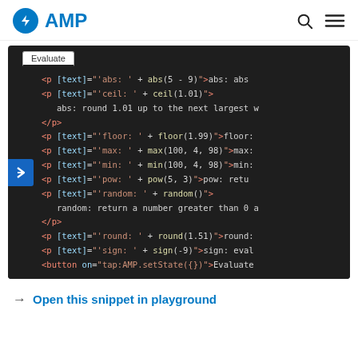AMP
[Figure (screenshot): AMP playground code editor showing HTML with AMP bind expressions for abs, ceil, floor, max, min, pow, random, round, sign math functions, with an Evaluate button tab and a blue arrow navigation button on the left side.]
→ Open this snippet in playground